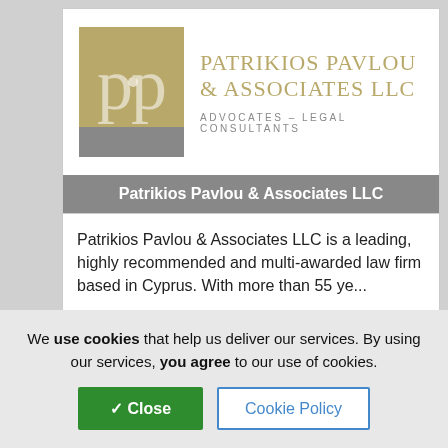[Figure (logo): Patrikios Pavlou & Associates LLC logo: gold square with stylized 'pp' monogram, gray bar below, firm name and subtitle to the right]
Patrikios Pavlou & Associates LLC
Patrikios Pavlou & Associates LLC is a leading, highly recommended and multi-awarded law firm based in Cyprus. With more than 55 ye...
We use cookies that help us deliver our services. By using our services, you agree to our use of cookies.